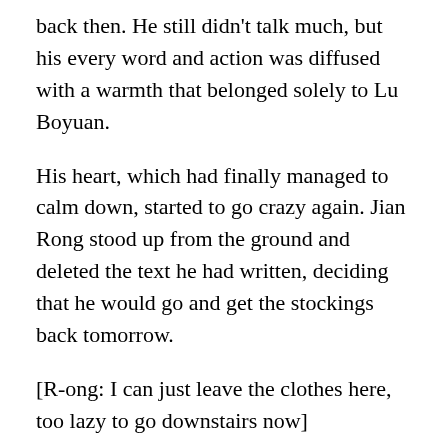back then. He still didn't talk much, but his every word and action was diffused with a warmth that belonged solely to Lu Boyuan.
His heart, which had finally managed to calm down, started to go crazy again. Jian Rong stood up from the ground and deleted the text he had written, deciding that he would go and get the stockings back tomorrow.
[R-ong: I can just leave the clothes here, too lazy to go downstairs now]
[Ding-ge: …]
[R-ong: ?]